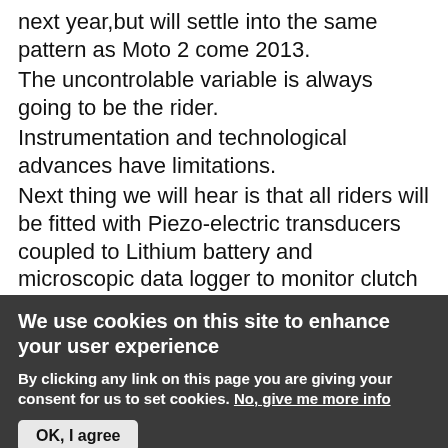next year,but will settle into the same pattern as Moto 2 come 2013.
The uncontrolable variable is always going to be the rider.
Instrumentation and technological advances have limitations.
Next thing we will hear is that all riders will be fitted with Piezo-electric transducers coupled to Lithium battery and microscopic data logger to monitor clutch lever control. Crikey,I'm getting old,but I do look forward to GP across all classes next year. Just maybe corporate conglomerates are sending GP into a downward spiral whereby prototype = sterotype. Robotic. Instrumentation
We use cookies on this site to enhance your user experience
By clicking any link on this page you are giving your consent for us to set cookies. No, give me more info
OK, I agree